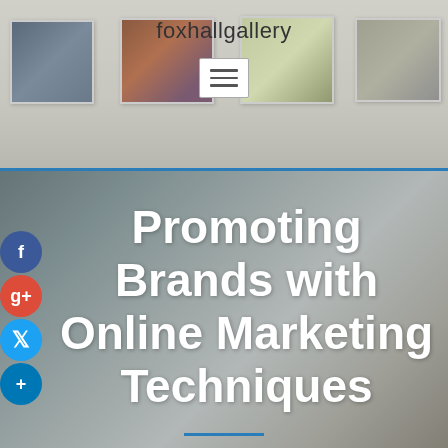[Figure (screenshot): foxhallgallery website header showing framed artwork on a gallery wall with site name and hamburger menu button]
Promoting Brands with Online Marketing Techniques